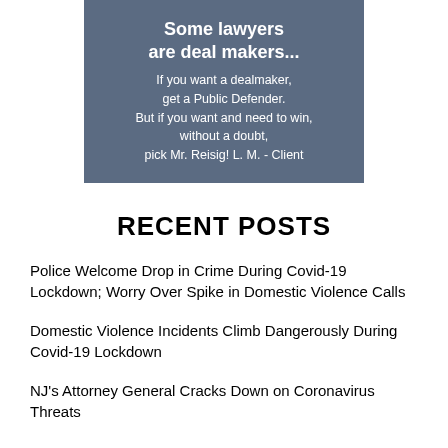[Figure (other): A testimonial advertisement box with a blue-grey background. Bold white headline reads 'Some lawyers are deal makers...' followed by white body text: 'If you want a dealmaker, get a Public Defender. But if you want and need to win, without a doubt, pick Mr. Reisig! L. M. - Client']
RECENT POSTS
Police Welcome Drop in Crime During Covid-19 Lockdown; Worry Over Spike in Domestic Violence Calls
Domestic Violence Incidents Climb Dangerously During Covid-19 Lockdown
NJ's Attorney General Cracks Down on Coronavirus Threats